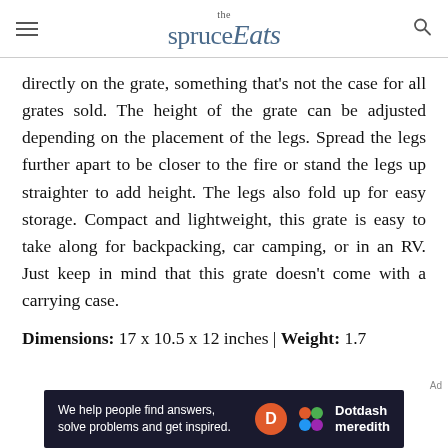the spruce Eats
directly on the grate, something that's not the case for all grates sold. The height of the grate can be adjusted depending on the placement of the legs. Spread the legs further apart to be closer to the fire or stand the legs up straighter to add height. The legs also fold up for easy storage. Compact and lightweight, this grate is easy to take along for backpacking, car camping, or in an RV. Just keep in mind that this grate doesn't come with a carrying case.
Dimensions: 17 x 10.5 x 12 inches | Weight: 1.7
[Figure (other): Dotdash Meredith advertisement banner with text 'We help people find answers, solve problems and get inspired.' with Dotdash Meredith logo]